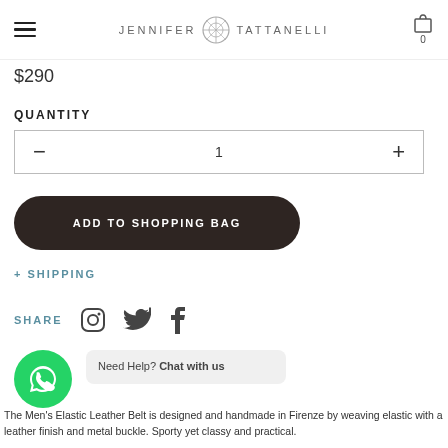JENNIFER TATTANELLI
$290
QUANTITY
- 1 +
ADD TO SHOPPING BAG
+ SHIPPING
SHARE
Need Help? Chat with us
The Men's Elastic Leather Belt is designed and handmade in Firenze by weaving elastic with a leather finish and metal buckle. Sporty yet classy and practical.